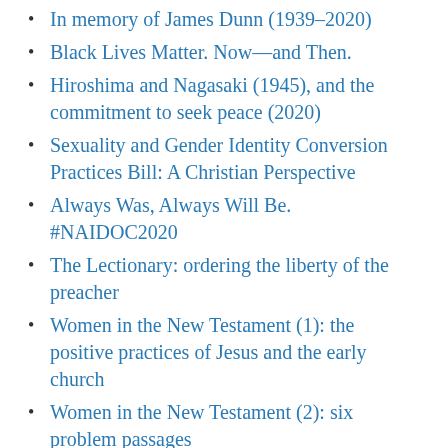In memory of James Dunn (1939–2020)
Black Lives Matter. Now—and Then.
Hiroshima and Nagasaki (1945), and the commitment to seek peace (2020)
Sexuality and Gender Identity Conversion Practices Bill: A Christian Perspective
Always Was, Always Will Be. #NAIDOC2020
The Lectionary: ordering the liberty of the preacher
Women in the New Testament (1): the positive practices of Jesus and the early church
Women in the New Testament (2): six problem passages
Reflections on a significant anniversary
What do we know about who wrote the New Testament Gospels? (1)
What do we know about who wrote the New